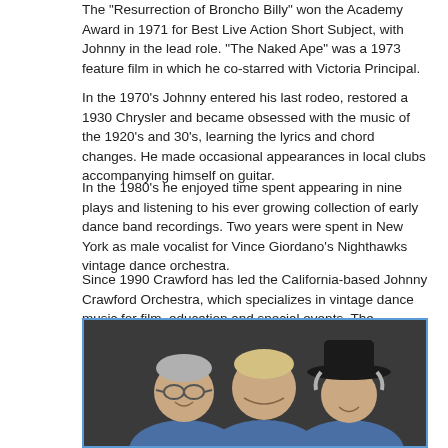The "Resurrection of Broncho Billy" won the Academy Award in 1971 for Best Live Action Short Subject, with Johnny in the lead role. "The Naked Ape" was a 1973 feature film in which he co-starred with Victoria Principal.
In the 1970's Johnny entered his last rodeo, restored a 1930 Chrysler and became obsessed with the music of the 1920's and 30's, learning the lyrics and chord changes.  He made occasional appearances in local clubs accompanying himself on guitar.
In the 1980's he enjoyed time spent appearing in nine plays and listening to his ever growing collection of early dance band recordings.  Two years were spent in New York as male vocalist for Vince Giordano's Nighthawks vintage dance orchestra.
Since 1990 Crawford has led the California-based Johnny Crawford Orchestra, which specializes in vintage dance music for film, education and special events.  The orchestra's first album, "Sweepin' the Clouds Away, " is currently available online and in all major retail outlets.
Johnny reconnected with his school sweetheart, Charlotte Samco, in 1990, and they wed in 1995.  He currently resides in Los Angeles.
[Figure (photo): Three men smiling, posed against a dark gray background. The man on the left wears glasses and a blue shirt. The man in the middle has light hair and a blue shirt. The man on the right wears a black cowboy hat and a blue shirt.]